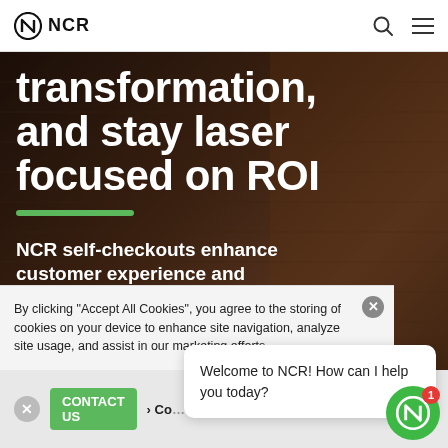NCR
transformation, and stay laser focused on ROI
NCR self-checkouts enhance customer experience and liberate your associates
By clicking “Accept All Cookies”, you agree to the storing of cookies on your device to enhance site navigation, analyze site usage, and assist in our marketing efforts.
Welcome to NCR! How can I help you today?